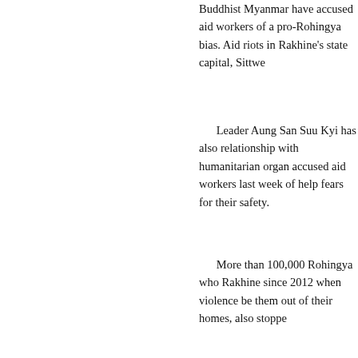Buddhist Myanmar have accused aid workers of a pro-Rohingya bias. Aid riots in Rakhine's state capital, Sittwe
Leader Aung San Suu Kyi has also relationship with humanitarian organ accused aid workers last week of help fears for their safety.
More than 100,000 Rohingya who Rakhine since 2012 when violence be them out of their homes, also stoppe
[Figure (photo): Photo of Rohingya women wearing colorful headscarves (pink and orange), appearing to be looking at something. The image is cropped to show the upper portion of the page.]